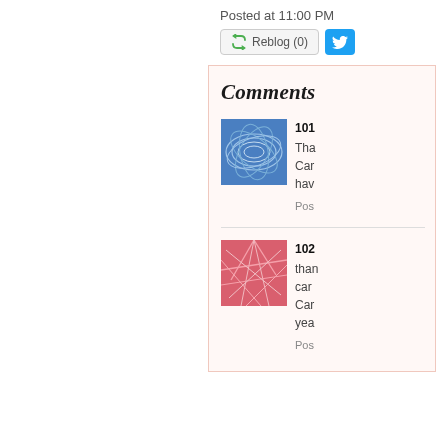Posted at 11:00 PM
Reblog (0)
Comments
101
Tha
Car
hav
Pos
102
than
car
Car
yea
Pos